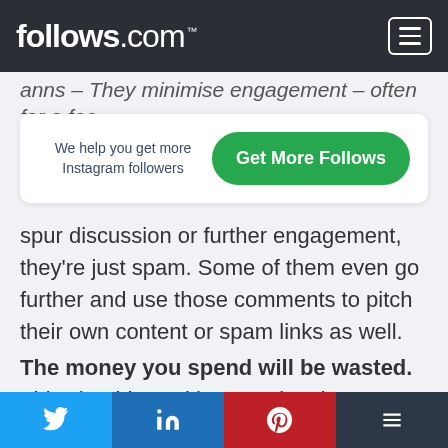follows.com™
anns – They minimise engagement – often for a fee
We help you get more Instagram followers
Get More Follows
spur discussion or further engagement, they're just spam. Some of them even go further and use those comments to pitch their own content or spam links as well.
The money you spend will be wasted. This should go without saying, but any amount of money you spend on these apps is wasted